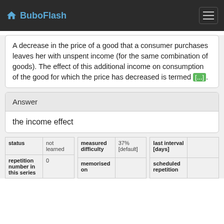BuboFlash
A decrease in the price of a good that a consumer purchases leaves her with unspent income (for the same combination of goods). The effect of this additional income on consumption of the good for which the price has decreased is termed [...].
Answer
the income effect
| status |  |
| --- | --- |
| status | not learned |
| repetition number in this series | 0 |
| measured difficulty |  |
| --- | --- |
| measured difficulty | 37% [default] |
| memorised on |  |
| last interval [days] |  |
| --- | --- |
| last interval [days] |  |
| scheduled repetition |  |